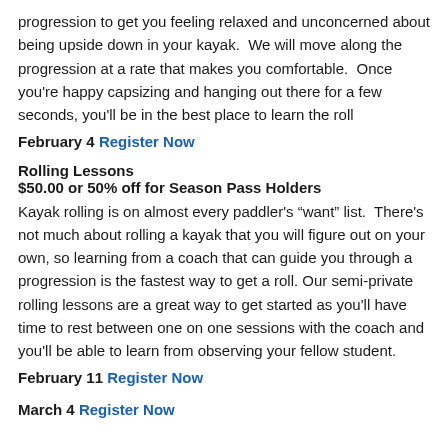progression to get you feeling relaxed and unconcerned about being upside down in your kayak.  We will move along the progression at a rate that makes you comfortable.  Once you're happy capsizing and hanging out there for a few seconds, you'll be in the best place to learn the roll
February 4 Register Now
Rolling Lessons
$50.00 or 50% off for Season Pass Holders
Kayak rolling is on almost every paddler's “want” list.  There's not much about rolling a kayak that you will figure out on your own, so learning from a coach that can guide you through a progression is the fastest way to get a roll. Our semi-private rolling lessons are a great way to get started as you'll have time to rest between one on one sessions with the coach and you'll be able to learn from observing your fellow student.
February 11 Register Now
March 4 Register Now